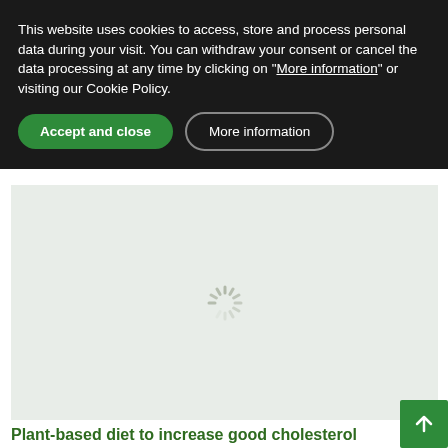This website uses cookies to access, store and process personal data during your visit. You can withdraw your consent or cancel the data processing at any time by clicking on "More information" or visiting our Cookie Policy.
Accept and close
More information
[Figure (other): Loading spinner on a light green/grey background, indicating an image is loading]
Plant-based diet to increase good cholesterol